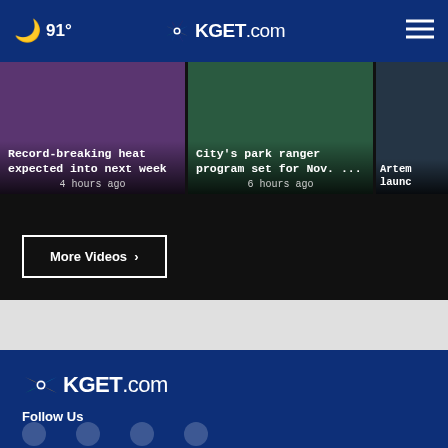🌙 91° | KGET.com | ≡
Record-breaking heat expected into next week
4 hours ago
City's park ranger program set for Nov. ...
6 hours ago
Artem launch...
More Videos ›
[Figure (logo): KGET.com NBC affiliate logo in footer]
Follow Us